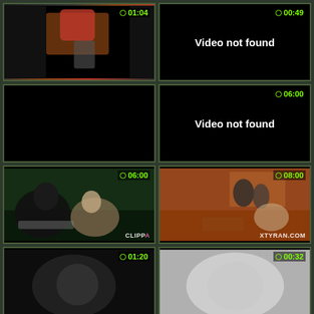[Figure (screenshot): Video thumbnail grid cell 1 with timer 01:04]
[Figure (screenshot): Video not found cell with timer 00:49]
[Figure (screenshot): Black video thumbnail cell, no timer]
[Figure (screenshot): Video not found cell with timer 06:00]
[Figure (screenshot): Video thumbnail cell with timer 06:00 and CLIPPA watermark]
[Figure (screenshot): Video thumbnail cell with timer 08:00 and XTYRAN.COM watermark]
[Figure (screenshot): Video thumbnail cell with timer 01:20]
[Figure (screenshot): Video thumbnail cell with timer 00:32]